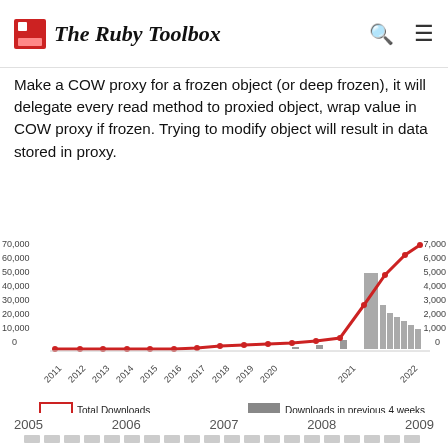The Ruby Toolbox
Make a COW proxy for a frozen object (or deep frozen), it will delegate every read method to proxied object, wrap value in COW proxy if frozen. Trying to modify object will result in data stored in proxy.
[Figure (line-chart): Downloads chart]
Total Downloads | Downloads in previous 4 weeks
| 2005 | 2006 | 2007 | 2008 | 2009 |
| --- | --- | --- | --- | --- |
| - | - | - | - | - |
| 2010 | 2011 | 2012 | 2013 | 2014 |
| --- | --- | --- | --- | --- |
| - | - | - | - | - |
| 2015 | 2016 | 2017 | 2018 | 2019 |
| --- | --- | --- | --- | --- |
| - | - | - | - | - |